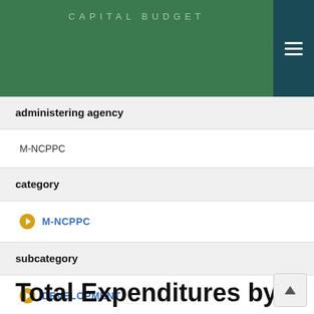CAPITAL BUDGET
administering agency
M-NCPPC
category
M-NCPPC
subcategory
DEVELOPMENT
Total Expenditures by